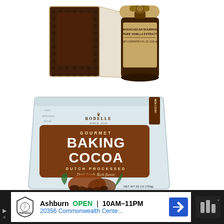[Figure (photo): Rodelle Madagascar Bourbon Pure Vanilla Extract bottle (4 fl oz / 118ml) with decorative box packaging, partially visible]
[Figure (photo): Rodelle Gourmet Baking Cocoa Dutch Processed bag, 25 oz (700g), white resealable pouch with brown label reading GOURMET BAKING COCOA DUTCH PROCESSED Dark finish. Rich flavor. with cocoa pods and beans illustration]
[Figure (screenshot): TopGolf advertisement banner: Ashburn OPEN 10AM-11PM, 20356 Commonwealth Cente... with navigation arrow icon and TopGolf logo]